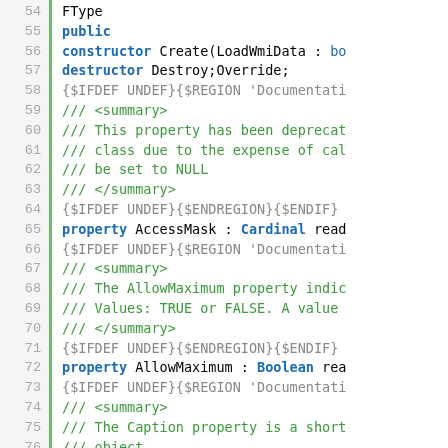[Figure (screenshot): Source code listing in Pascal/Delphi style with line numbers 54-79, showing class members including constructor, destructor, properties, and XML documentation comments. Line numbers are shown in gray on the left, a green vertical bar separates numbers from code. Keywords like public, constructor, destructor, property are in bold blue. Comments starting with /// are in green. Preprocessor directives in gray.]